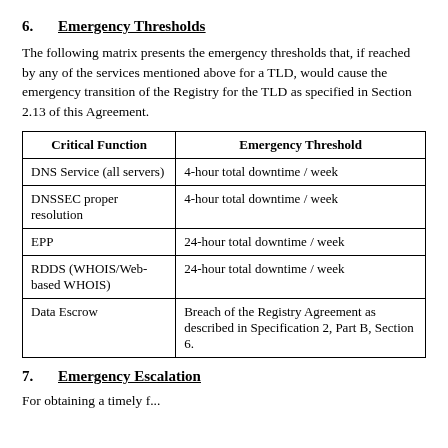6. Emergency Thresholds
The following matrix presents the emergency thresholds that, if reached by any of the services mentioned above for a TLD, would cause the emergency transition of the Registry for the TLD as specified in Section 2.13 of this Agreement.
| Critical Function | Emergency Threshold |
| --- | --- |
| DNS Service (all servers) | 4-hour total downtime / week |
| DNSSEC proper resolution | 4-hour total downtime / week |
| EPP | 24-hour total downtime / week |
| RDDS (WHOIS/Web-based WHOIS) | 24-hour total downtime / week |
| Data Escrow | Breach of the Registry Agreement as described in Specification 2, Part B, Section 6. |
7. Emergency Escalation
For obtaining a timely f...